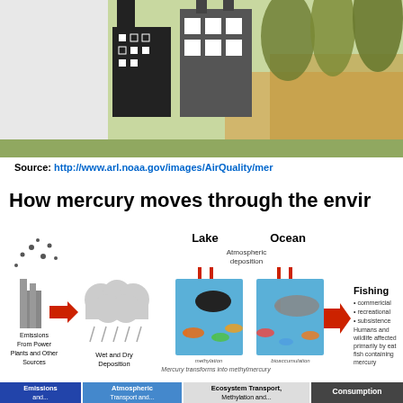[Figure (illustration): Top portion of an illustration showing industrial buildings (factories) with smokestacks on a landscape background with trees and a river/water body.]
Source: http://www.arl.noaa.gov/images/AirQuality/mer
How mercury moves through the envir
[Figure (infographic): Diagram showing how mercury moves through the environment: Emissions from Power Plants and Other Sources -> Wet and Dry Deposition -> Lake and Ocean with Atmospheric deposition arrows -> Mercury transforms into methylmercury in soils and water, then can bioaccumulate in fish -> Fishing (commercial, recreational, subsistence). Humans and wildlife affected primarily by eating fish containing mercury. Also shows neurological/developmental impacts.]
[Figure (infographic): Bottom bar showing process stages: Emissions and... | Atmospheric Transport and... | Ecosystem Transport, Methylation and... | Consumption]